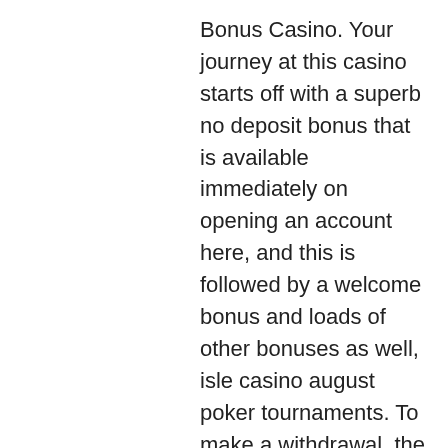Bonus Casino. Your journey at this casino starts off with a superb no deposit bonus that is available immediately on opening an account here, and this is followed by a welcome bonus and loads of other bonuses as well, isle casino august poker tournaments. To make a withdrawal, the minimum requirement is $150, roulette casino cosmopol. In addition to the standard casino games, encore offers both paigow and. The casino at encore is a huge 210,000 square-feet with 3,158 slot machines, 143 table games and a large poker room with 88 tables. The 27-story hotel tower. Encore casino is the little sister location of the famed wynn casino and resort, which is right next door. The encore is formally called the encore at wynn. The encore casino reported $54. That gamblers put into the casino's slot machines last month. More than 3,100 slot machines await you at encore boston harbor.